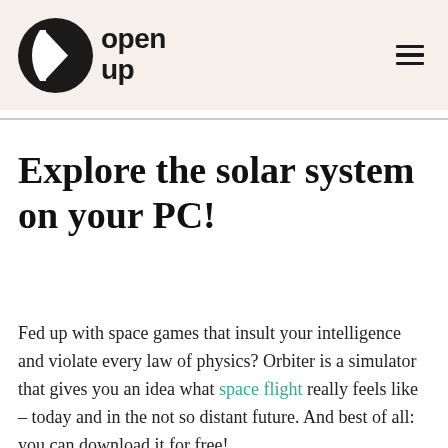open up
Explore the solar system on your PC!
Fed up with space games that insult your intelligence and violate every law of physics? Orbiter is a simulator that gives you an idea what space flight really feels like – today and in the not so distant future. And best of all: you can download it for free!